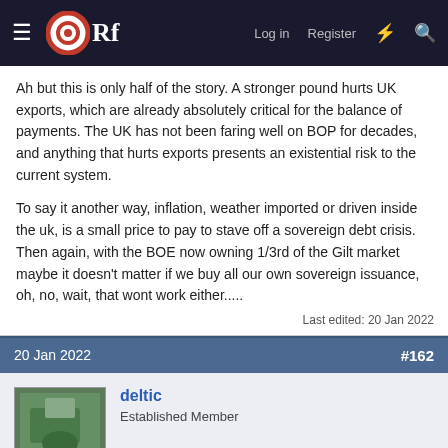ORf — Log in Register
Ah but this is only half of the story. A stronger pound hurts UK exports, which are already absolutely critical for the balance of payments. The UK has not been faring well on BOP for decades, and anything that hurts exports presents an existential risk to the current system.
To say it another way, inflation, weather imported or driven inside the uk, is a small price to pay to stave off a sovereign debt crisis. Then again, with the BOE now owning 1/3rd of the Gilt market maybe it doesn't matter if we buy all our own sovereign issuance, oh, no, wait, that wont work either.....
Last edited: 20 Jan 2022
20 Jan 2022    #162
deltic
Established Member
Wynd said: ↑
Lies, lies and statistics...